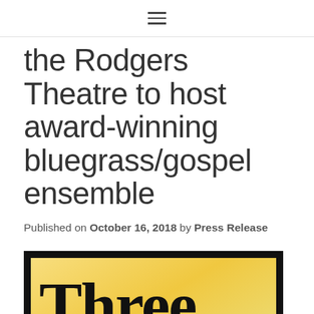≡
the Rodgers Theatre to host award-winning bluegrass/gospel ensemble
Published on October 16, 2018 by Press Release
[Figure (illustration): Poster image with black border and yellow/gold background showing 'Three Rivers' text in large bold serif font]